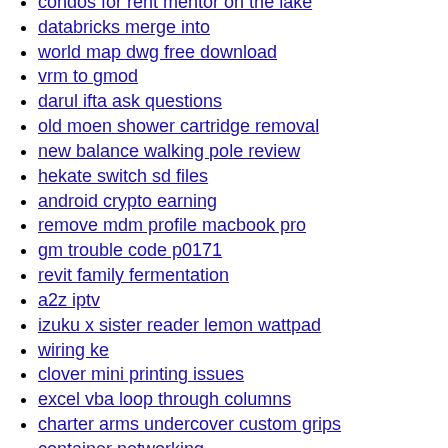condos for rent mentor on the lake
databricks merge into
world map dwg free download
vrm to gmod
darul ifta ask questions
old moen shower cartridge removal
new balance walking pole review
hekate switch sd files
android crypto earning
remove mdm profile macbook pro
gm trouble code p0171
revit family fermentation
a2z iptv
izuku x sister reader lemon wattpad
wiring ke
clover mini printing issues
excel vba loop through columns
charter arms undercover custom grips
container networking
columbia mha reddit
tank container chassis
travel trailers for sale boise
leviathan axe 5e
colorbond gate post
oxygenos 12 oneplus 8t